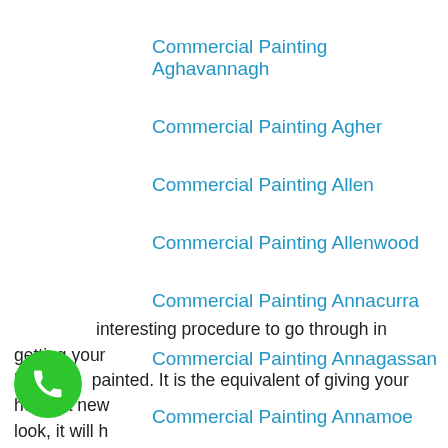Commercial Painting Aghavannagh
Commercial Painting Agher
Commercial Painting Allen
Commercial Painting Allenwood
Commercial Painting Annacurra
Commercial Painting Annagassan
Commercial Painting Annamoe
Commercial Painting Ardcath
interesting procedure to go through in getting your h… painted. It is the equivalent of giving your home a new look, it will have your…